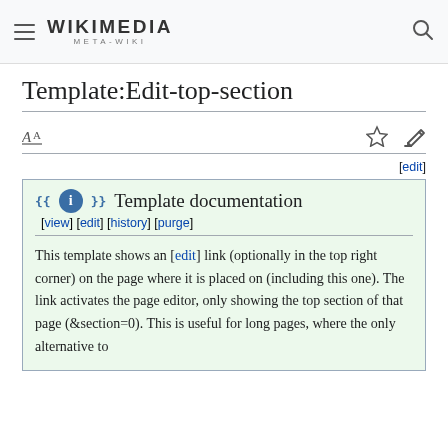WIKIMEDIA META-WIKI
Template:Edit-top-section
[edit]
{{ℹ}} Template documentation [view] [edit] [history] [purge]
This template shows an [edit] link (optionally in the top right corner) on the page where it is placed on (including this one). The link activates the page editor, only showing the top section of that page (&section=0). This is useful for long pages, where the only alternative to